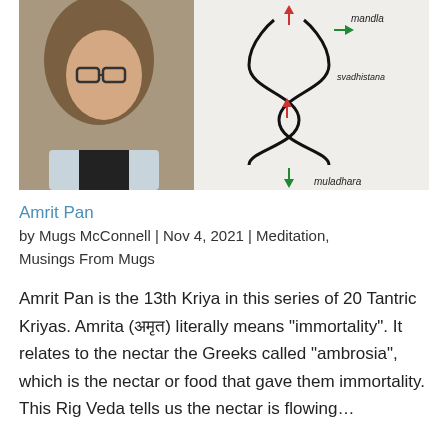[Figure (photo): A woman with glasses and long hair seen from the side/front, next to a whiteboard with a diagram showing chakra points labeled 'mandla', 'svadhisthana', 'muladhara' with arrows in red and green.]
Amrit Pan
by Mugs McConnell | Nov 4, 2021 | Meditation, Musings From Mugs
Amrit Pan is the 13th Kriya in this series of 20 Tantric Kriyas. Amrita (अमृत) literally means “immortality”. It relates to the nectar the Greeks called “ambrosia”, which is the nectar or food that gave them immortality. This Rig Veda tells us the nectar is flowing…